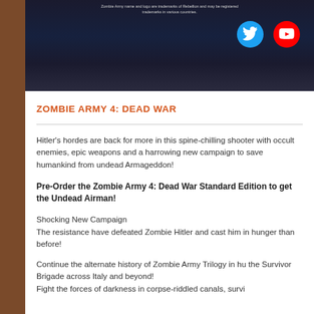[Figure (screenshot): Dark banner image with fine print text and Twitter and YouTube social media icon buttons]
ZOMBIE ARMY 4: DEAD WAR
Hitler's hordes are back for more in this spine-chilling shooter with occult enemies, epic weapons and a harrowing new campaign to save humankind from undead Armageddon!
Pre-Order the Zombie Army 4: Dead War Standard Edition to get the Undead Airman!
Shocking New Campaign
The resistance have defeated Zombie Hitler and cast him i... hunger than before!
Continue the alternate history of Zombie Army Trilogy in hu... the Survivor Brigade across Italy and beyond!
Fight the forces of darkness in corpse-riddled canals, survi...